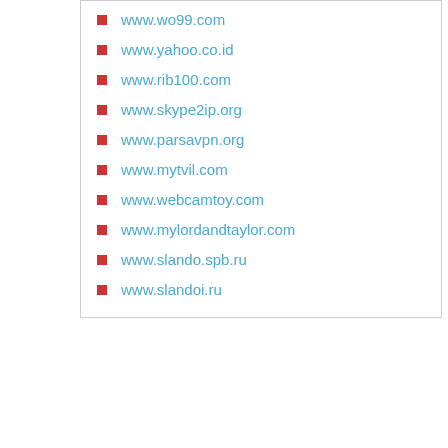www.wo99.com
www.yahoo.co.id
www.rib100.com
www.skype2ip.org
www.parsavpn.org
www.mytvil.com
www.webcamtoy.com
www.mylordandtaylor.com
www.slando.spb.ru
www.slandoi.ru